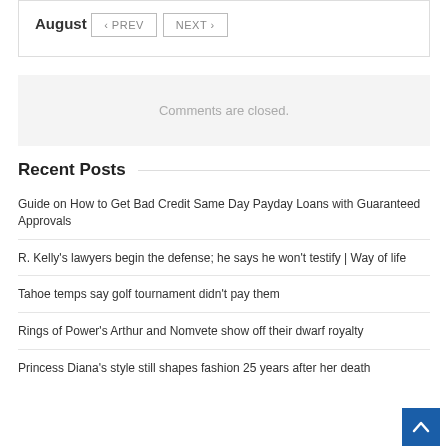August
‹ PREV   NEXT ›
Comments are closed.
Recent Posts
Guide on How to Get Bad Credit Same Day Payday Loans with Guaranteed Approvals
R. Kelly's lawyers begin the defense; he says he won't testify | Way of life
Tahoe temps say golf tournament didn't pay them
Rings of Power's Arthur and Nomvete show off their dwarf royalty
Princess Diana's style still shapes fashion 25 years after her death